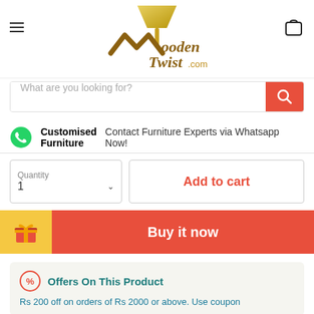[Figure (logo): WoodenTwist.com logo with lamp and W shape in gold/brown colors]
[Figure (screenshot): Search bar with placeholder 'What are you looking for?' and red search button]
Customised Furniture — Contact Furniture Experts via Whatsapp Now!
Quantity 1 — Add to cart
Buy it now
Offers On This Product
Rs 200 off on orders of Rs 2000 or above. Use coupon